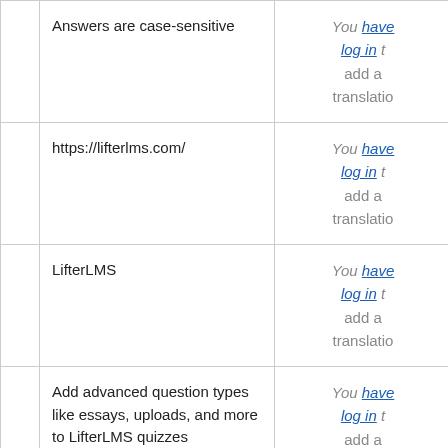|  | Source text | Translation |
| --- | --- | --- |
|  | Answers are case-sensitive | You have log in to add a translation |
|  | https://lifterlms.com/ | You have log in to add a translation |
|  | LifterLMS | You have log in to add a translation |
|  | Add advanced question types like essays, uploads, and more to LifterLMS quizzes | You have log in to add a translation |